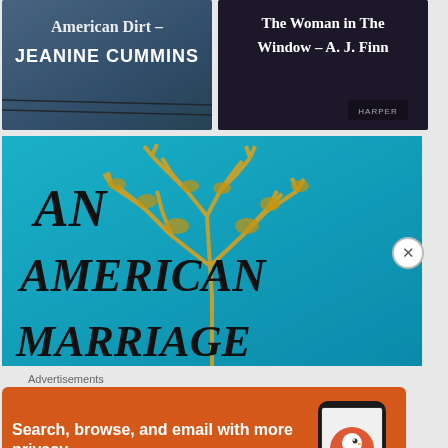[Figure (photo): Book cover thumbnail: American Dirt by Jeanine Cummins, dark background with barbed wire]
[Figure (photo): Book cover thumbnail: The Woman in The Window by A. J. Finn, HarperAudio, dark cover]
[Figure (photo): Book cover: An American Marriage, large teal background with golden tree silhouette and bold black serif text]
Advertisements
[Figure (infographic): DuckDuckGo advertisement: Search, browse, and email with more privacy. All in One Free App. Shows phone with DuckDuckGo logo.]